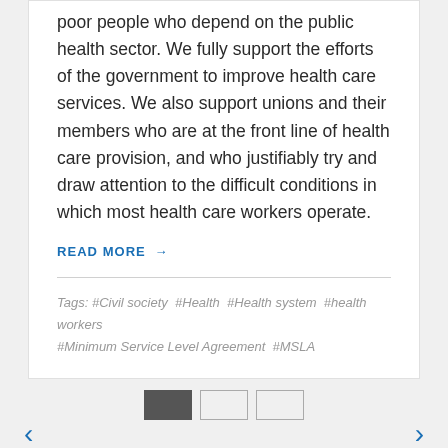poor people who depend on the public health sector. We fully support the efforts of the government to improve health care services. We also support unions and their members who are at the front line of health care provision, and who justifiably try and draw attention to the difficult conditions in which most health care workers operate.
READ MORE →
Tags: #Civil society  #Health  #Health system  #health workers  #Minimum Service Level Agreement  #MSLA